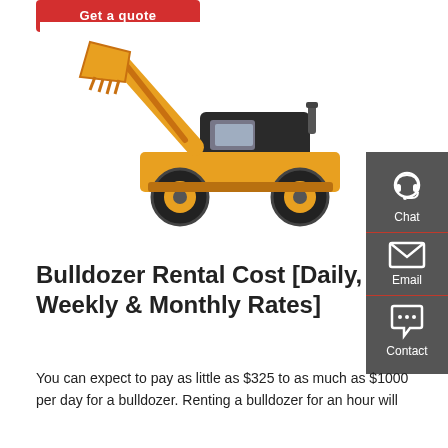[Figure (other): Red button with white text reading 'Get a quote']
[Figure (photo): Yellow front-end loader / bulldozer on white background]
[Figure (other): Dark grey sidebar with Chat, Email, and Contact icons and labels]
Bulldozer Rental Cost [Daily, Weekly & Monthly Rates]
You can expect to pay as little as $325 to as much as $1000 per day for a bulldozer. Renting a bulldozer for an hour will